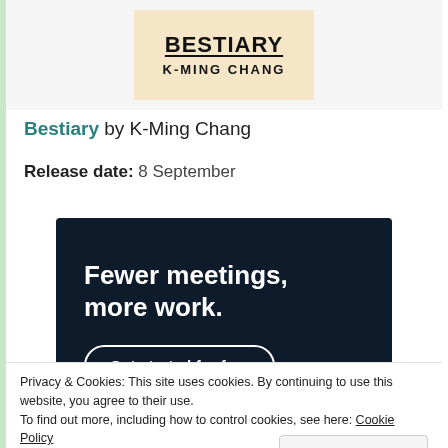[Figure (illustration): Book cover for 'Bestiary' by K-Ming Chang, showing stylized hand-lettered title text on a warm cream/tan background]
Bestiary by K-Ming Chang
Release date: 8 September
[Figure (infographic): Dark navy advertisement banner with bold white text reading 'Fewer meetings, more work.' and a white-outlined pill button 'Get started for free']
Privacy & Cookies: This site uses cookies. By continuing to use this website, you agree to their use.
To find out more, including how to control cookies, see here: Cookie Policy
Close and accept